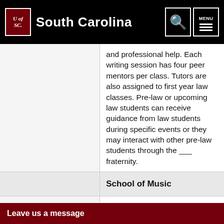University of South Carolina
and professional help. Each writing session has four peer mentors per class. Tutors are also assigned to first year law classes. Pre-law or upcoming law students can receive guidance from law students during specific events or they may interact with other pre-law students through the ___ fraternity.
School of Music
|  |  |
| --- | --- |
| Department Contact | Associate Dean and Director of Undergraduate Studies: Tim Stall... |
Leave us a message